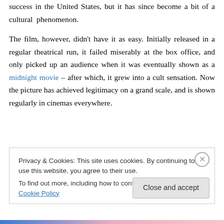success in the United States, but it has since become a bit of a cultural phenomenon.
The film, however, didn't have it as easy. Initially released in a regular theatrical run, it failed miserably at the box office, and only picked up an audience when it was eventually shown as a midnight movie – after which, it grew into a cult sensation. Now the picture has achieved legitimacy on a grand scale, and is shown regularly in cinemas everywhere.
Privacy & Cookies: This site uses cookies. By continuing to use this website, you agree to their use.
To find out more, including how to control cookies, see here: Cookie Policy